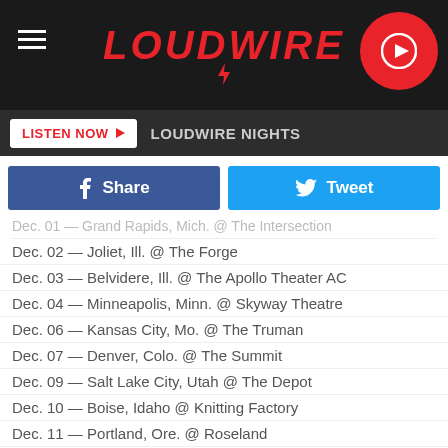LOUDWIRE — LOUDWIRE NIGHTS
Share | Tweet
Dec. 01 — Grand Rapids, Mich. @ The Intersection
Dec. 02 — Joliet, Ill. @ The Forge
Dec. 03 — Belvidere, Ill. @ The Apollo Theater AC
Dec. 04 — Minneapolis, Minn. @ Skyway Theatre
Dec. 06 — Kansas City, Mo. @ The Truman
Dec. 07 — Denver, Colo. @ The Summit
Dec. 09 — Salt Lake City, Utah @ The Depot
Dec. 10 — Boise, Idaho @ Knitting Factory
Dec. 11 — Portland, Ore. @ Roseland
Dec. 12 — Seattle, Wash. @ The Crocadile
Dec. 14 — Santa Cruz, Calif. @ The Catalyst